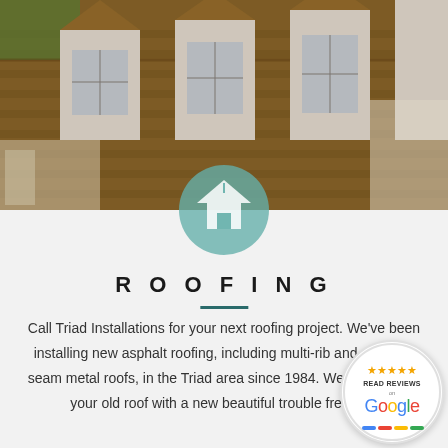[Figure (photo): Aerial view of a residential roof with brown asphalt shingles and multiple white dormer windows]
[Figure (logo): Circular teal/turquoise icon with a house/roof symbol inside]
ROOFING
Call Triad Installations for your next roofing project. We've been installing new asphalt roofing, including multi-rib and standing seam metal roofs, in the Triad area since 1984. We can replace your old roof with a new beautiful trouble free roof
[Figure (logo): Google review badge — circular badge with 5 gold stars, READ REVIEWS text, and Google logo in multicolor]